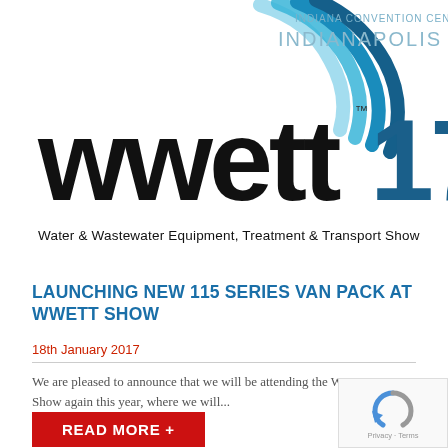[Figure (logo): WWETT 17 show logo with water wave graphic, 'wwett' in large black text with '17' in dark blue-teal gradient, 'INDIANA CONVENTION CENTER INDIANAPOLIS' text above in gray/blue, and subtitle 'Water & Wastewater Equipment, Treatment & Transport Show' below in black sans-serif]
LAUNCHING NEW 115 SERIES VAN PACK AT WWETT SHOW
18th January 2017
We are pleased to announce that we will be attending the WWETT Show again this year, where we will...
[Figure (other): Red button with white bold text: READ MORE +]
[Figure (other): reCAPTCHA widget box with blue/gray arrow icon and 'Privacy - Terms' text]